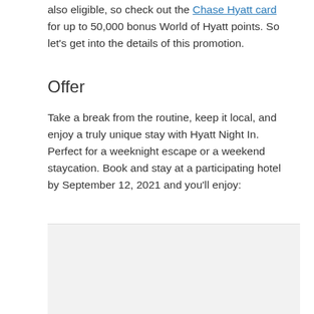also eligible, so check out the Chase Hyatt card for up to 50,000 bonus World of Hyatt points. So let's get into the details of this promotion.
Offer
Take a break from the routine, keep it local, and enjoy a truly unique stay with Hyatt Night In. Perfect for a weeknight escape or a weekend staycation. Book and stay at a participating hotel by September 12, 2021 and you'll enjoy: